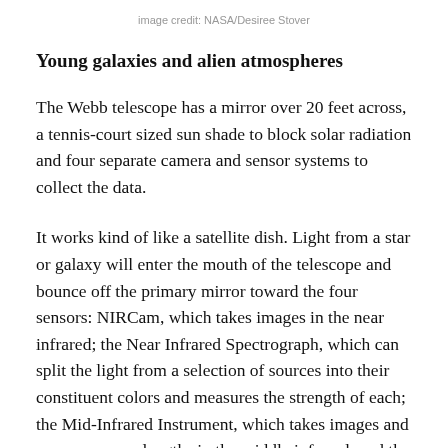image credit: NASA/Desiree Stover
Young galaxies and alien atmospheres
The Webb telescope has a mirror over 20 feet across, a tennis-court sized sun shade to block solar radiation and four separate camera and sensor systems to collect the data.
It works kind of like a satellite dish. Light from a star or galaxy will enter the mouth of the telescope and bounce off the primary mirror toward the four sensors: NIRCam, which takes images in the near infrared; the Near Infrared Spectrograph, which can split the light from a selection of sources into their constituent colors and measures the strength of each; the Mid-Infrared Instrument, which takes images and measures wavelengths in the middle infrared; and the Near